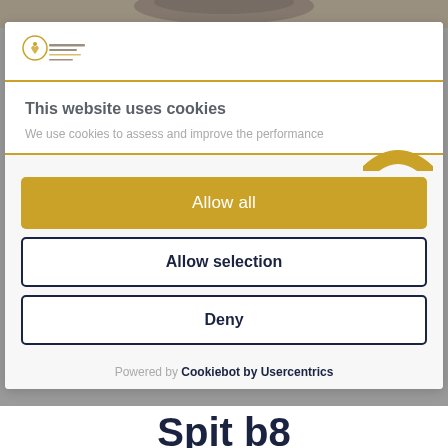[Figure (photo): Partial background photo visible at the top of the page, mostly obscured by the cookie consent overlay]
[Figure (logo): Small circular logo with heart/person icon and text below, belonging to a food or catering business]
This website uses cookies
We use cookies to assess and improve the performance
Allow all
Allow selection
Deny
Powered by Cookiebot by Usercentrics
Spit b8